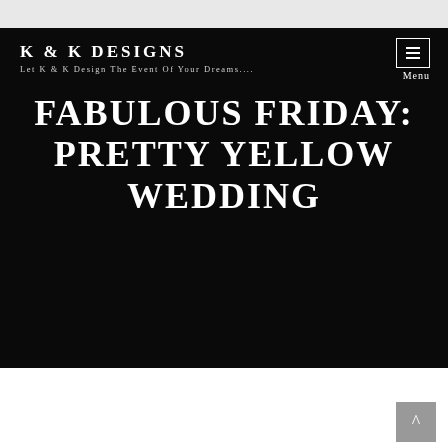[Figure (screenshot): Dark hero banner with partial building/roof visible at top]
K & K DESIGNS — Let K & K Design The Event Of Your Dreams....
FABULOUS FRIDAY: PRETTY YELLOW WEDDING
Happy Friday y'all! This week has been